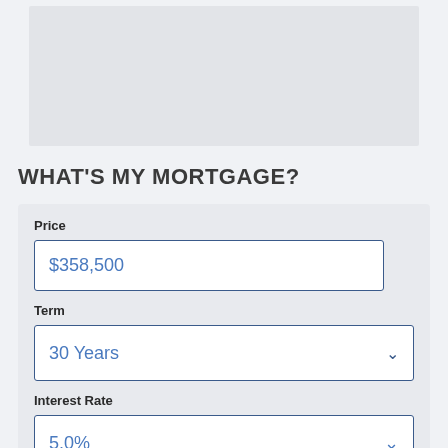[Figure (other): Gray placeholder image area at top of page]
WHAT'S MY MORTGAGE?
Price
$358,500
Term
30 Years
Interest Rate
5.0%